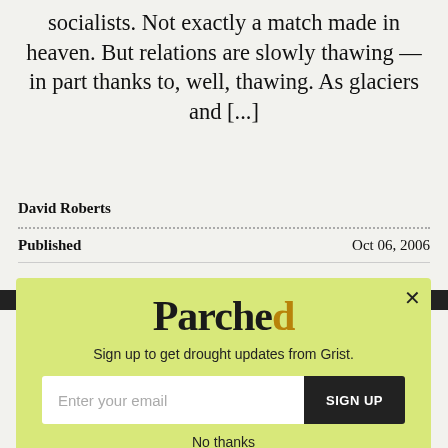socialists. Not exactly a match made in heaven. But relations are slowly thawing — in part thanks to, well, thawing. As glaciers and [...]
David Roberts
Published   Oct 06, 2006
[Figure (other): Parched newsletter signup popup with logo, subtitle 'Sign up to get drought updates from Grist.', email input field, SIGN UP button, and 'No thanks' link. Background is yellow-green color.]